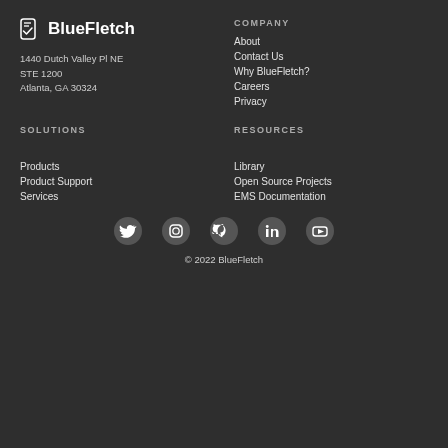[Figure (logo): BlueFletch logo with stylized phone/check icon and text 'BlueFletch' in white on dark background]
1440 Dutch Valley Pl NE
STE 1200
Atlanta, GA 30324
COMPANY
About
Contact Us
Why BlueFletch?
Careers
Privacy
SOLUTIONS
Products
Product Support
Services
RESOURCES
Library
Open Source Projects
EMS Documentation
[Figure (other): Social media icons row: Twitter, Instagram, GitHub, LinkedIn, YouTube — white icons on dark circular backgrounds]
© 2022 BlueFletch